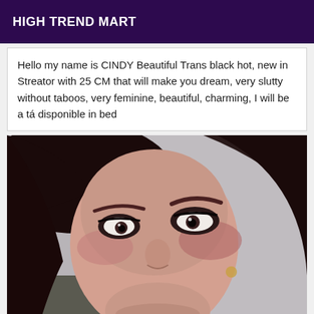HIGH TREND MART
Hello my name is CINDY Beautiful Trans black hot, new in Streator with 25 CM that will make you dream, very slutty without taboos, very feminine, beautiful, charming, I will be a tá disponible in bed
[Figure (photo): Close-up portrait photo of a person with dark hair, heavy eye makeup, red lipstick, looking at camera]